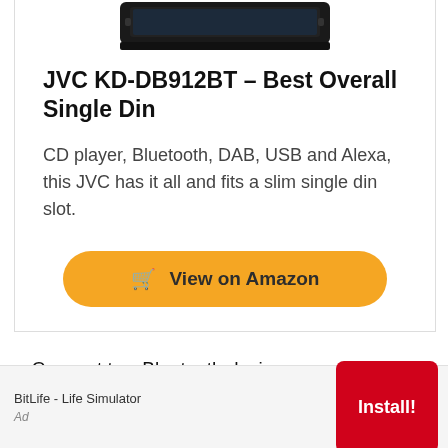[Figure (photo): Partial view of JVC KD-DB912BT car radio unit at the top of a product card]
JVC KD-DB912BT – Best Overall Single Din
CD player, Bluetooth, DAB, USB and Alexa, this JVC has it all and fits a slim single din slot.
View on Amazon
Connect two Bluetooth devices
BitLife - Life Simulator
Install!
Ad